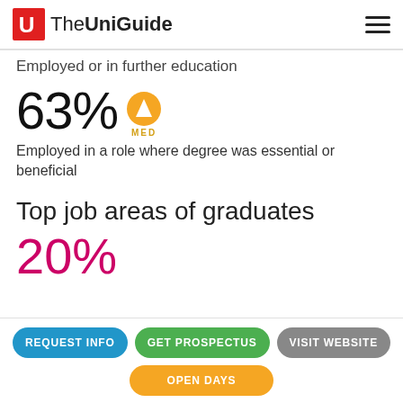The UniGuide
Employed or in further education
63% MED
Employed in a role where degree was essential or beneficial
Top job areas of graduates
20%
REQUEST INFO | GET PROSPECTUS | VISIT WEBSITE | OPEN DAYS